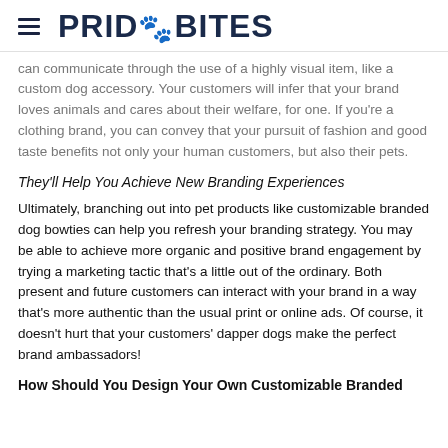PRIDEBITES
can communicate through the use of a highly visual item, like a custom dog accessory. Your customers will infer that your brand loves animals and cares about their welfare, for one. If you're a clothing brand, you can convey that your pursuit of fashion and good taste benefits not only your human customers, but also their pets.
They'll Help You Achieve New Branding Experiences
Ultimately, branching out into pet products like customizable branded dog bowties can help you refresh your branding strategy. You may be able to achieve more organic and positive brand engagement by trying a marketing tactic that's a little out of the ordinary. Both present and future customers can interact with your brand in a way that's more authentic than the usual print or online ads. Of course, it doesn't hurt that your customers' dapper dogs make the perfect brand ambassadors!
How Should You Design Your Own Customizable Branded...